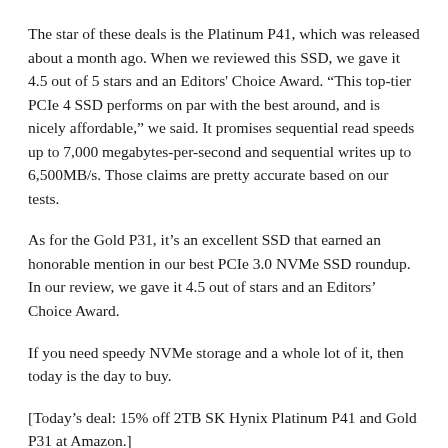The star of these deals is the Platinum P41, which was released about a month ago. When we reviewed this SSD, we gave it 4.5 out of 5 stars and an Editors' Choice Award. “This top-tier PCIe 4 SSD performs on par with the best around, and is nicely affordable,” we said. It promises sequential read speeds up to 7,000 megabytes-per-second and sequential writes up to 6,500MB/s. Those claims are pretty accurate based on our tests.
As for the Gold P31, it’s an excellent SSD that earned an honorable mention in our best PCIe 3.0 NVMe SSD roundup. In our review, we gave it 4.5 out of stars and an Editors’ Choice Award.
If you need speedy NVMe storage and a whole lot of it, then today is the day to buy.
[Today’s deal: 15% off 2TB SK Hynix Platinum P41 and Gold P31 at Amazon.]